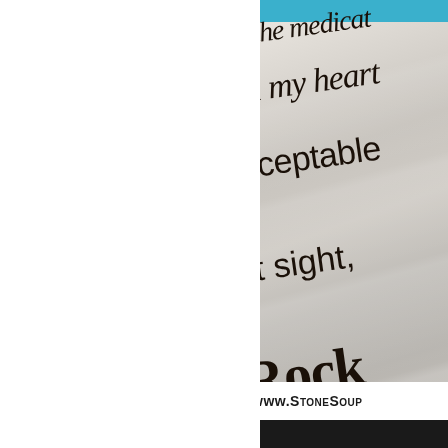[Figure (photo): Close-up photograph of fabric or paper with handwritten/printed text visible at an angle, showing partial words: '...the meditat...', '...d my heart', '...cceptable', '...t sight,', '...Rock'. A white ribbon banner at the bottom shows 'www.StoneSoup' text. Blue bar at top.]